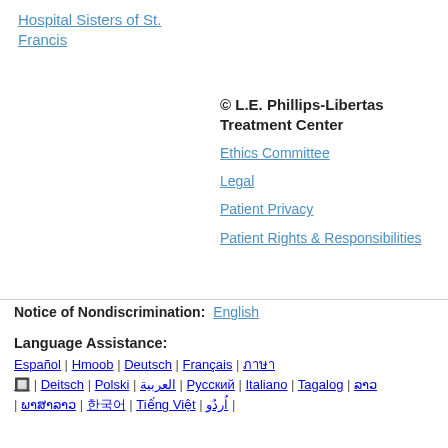Hospital Sisters of St. Francis
© L.E. Phillips-Libertas Treatment Center
Ethics Committee
Legal
Patient Privacy
Patient Rights & Responsibilities
Notice of Nondiscrimination: English
Language Assistance:
Español | Hmoob | Deutsch | Français | ภาษา | Deitsch | Polski | العربية | Русский | Italiano | Tagalog | ລາວ | ພາສາລາວ | 한국어 | Tiếng Việt | اُردُو |